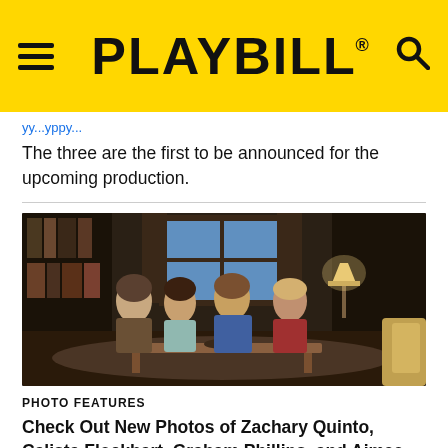PLAYBILL
The three are the first to be announced for the upcoming production.
[Figure (photo): Four actors (two men, two women) seated together on a sofa in a dimly lit, vintage-styled living room set. From left to right: a man in a tweed suit with glasses, a woman in a light blue dress, a man in a blue suit with bow tie, and a woman in a dark red dress. A coffee table with drinks is in the foreground.]
PHOTO FEATURES
Check Out New Photos of Zachary Quinto, Calista Flockhart, Graham Phillips, and Aimee Carrero in Who's Afraid of Virginia